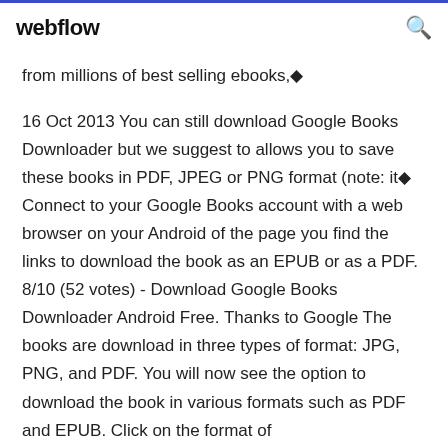webflow
from millions of best selling ebooks,◆
16 Oct 2013 You can still download Google Books Downloader but we suggest to allows you to save these books in PDF, JPEG or PNG format (note: it◆ Connect to your Google Books account with a web browser on your Android of the page you find the links to download the book as an EPUB or as a PDF. 8/10 (52 votes) - Download Google Books Downloader Android Free. Thanks to Google The books are download in three types of format: JPG, PNG, and PDF. You will now see the option to download the book in various formats such as PDF and EPUB. Click on the format of